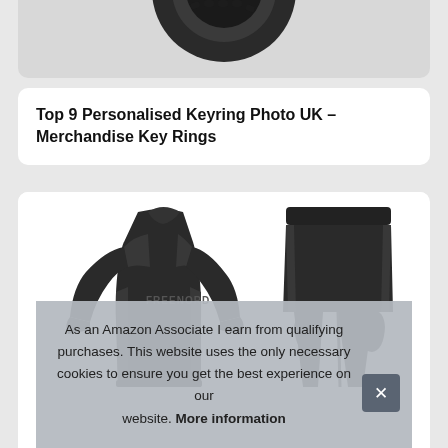[Figure (photo): Partial view of a black tire/wheel product on a light grey background, cropped at top]
Top 9 Personalised Keyring Photo UK – Merchandise Key Rings
[Figure (photo): Black wetsuit two-piece set: long-sleeve top (with FREENORD branding) on the left and wetsuit pants on the right, on white background]
As an Amazon Associate I earn from qualifying purchases. This website uses the only necessary cookies to ensure you get the best experience on our website. More information